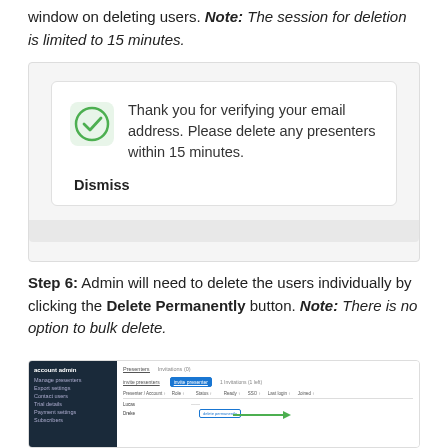window on deleting users. Note: The session for deletion is limited to 15 minutes.
[Figure (screenshot): A notification card with a green checkmark icon that says: 'Thank you for verifying your email address. Please delete any presenters within 15 minutes.' with a Dismiss button.]
Step 6: Admin will need to delete the users individually by clicking the Delete Permanently button. Note: There is no option to bulk delete.
[Figure (screenshot): Screenshot of a web admin interface showing a manage presenters table with a Delete Permanently button and a green arrow pointing to it.]